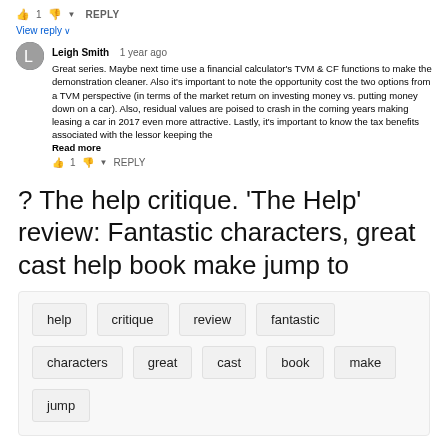👍 1 👎 ▼ REPLY
View reply ∨
Leigh Smith  1 year ago
Great series. Maybe next time use a financial calculator's TVM & CF functions to make the demonstration cleaner. Also it's important to note the opportunity cost the two options from a TVM perspective (in terms of the market return on investing money vs. putting money down on a car). Also, residual values are poised to crash in the coming years making leasing a car in 2017 even more attractive. Lastly, it's important to know the tax benefits associated with the lessor keeping the Read more
👍 1 👎 ▼ REPLY
? The help critique. 'The Help' review: Fantastic characters, great cast help book make jump to
help
critique
review
fantastic
characters
great
cast
book
make
jump